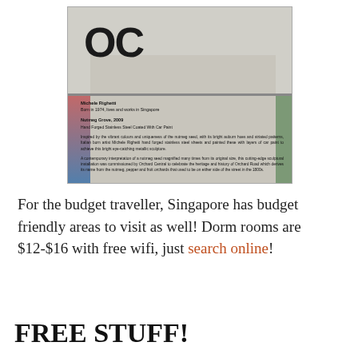[Figure (photo): Photo of a museum/gallery placard for artwork 'Nutmeg Grove, 2009' by Michele Righetti. The placard shows the OC logo at the top, artist information, artwork title, medium (Hand Forged Stainless Steel Coated With Car Paint), and descriptive text about the sculpture inspired by nutmeg seeds and commissioned by Orchard Central.]
For the budget traveller, Singapore has budget friendly areas to visit as well! Dorm rooms are $12-$16 with free wifi, just search online!
FREE STUFF!